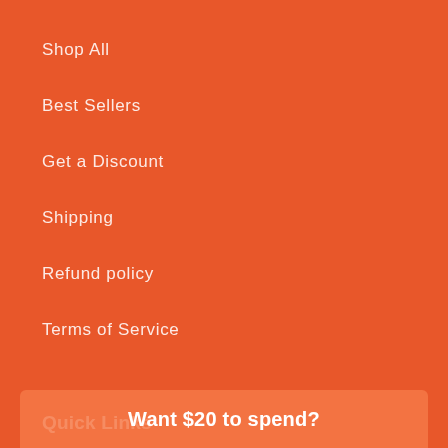Shop All
Best Sellers
Get a Discount
Shipping
Refund policy
Terms of Service
Quick Links
Home page
Want $20 to spend?